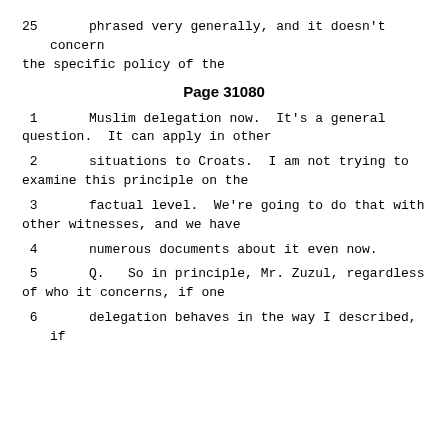25    phrased very generally, and it doesn't concern the specific policy of the
Page 31080
1     Muslim delegation now.  It's a general question.  It can apply in other
2     situations to Croats.  I am not trying to examine this principle on the
3     factual level.  We're going to do that with other witnesses, and we have
4     numerous documents about it even now.
5     Q.   So in principle, Mr. Zuzul, regardless of who it concerns, if one
6     delegation behaves in the way I described, if